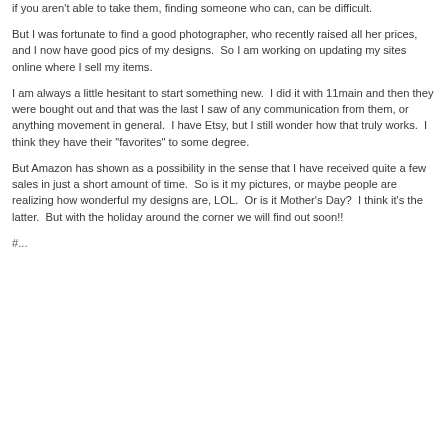if you aren't able to take them, finding someone who can, can be difficult.
But I was fortunate to find a good photographer, who recently raised all her prices, and I now have good pics of my designs.  So I am working on updating my sites online where I sell my items.
I am always a little hesitant to start something new.  I did it with 11main and then they were bought out and that was the last I saw of any communication from them, or anything movement in general.  I have Etsy, but I still wonder how that truly works.  I think they have their "favorites" to some degree.
But Amazon has shown as a possibility in the sense that I have received quite a few sales in just a short amount of time.  So is it my pictures, or maybe people are realizing how wonderful my designs are, LOL.  Or is it Mother's Day?  I think it's the latter.  But with the holiday around the corner we will find out soon!!
#...